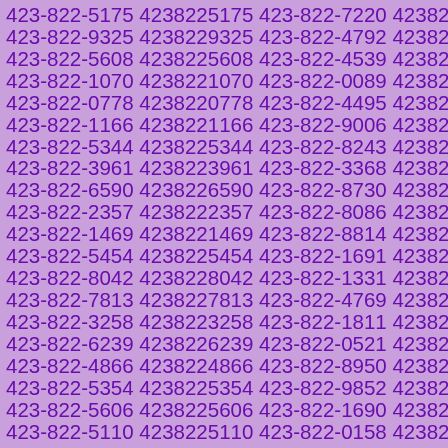423-822-5175 4238225175 423-822-7220 4238227220 423-822-9325 4238229325 423-822-4792 4238224792 423-822-5608 4238225608 423-822-4539 4238224539 423-822-1070 4238221070 423-822-0089 4238220089 423-822-0778 4238220778 423-822-4495 4238224495 423-822-1166 4238221166 423-822-9006 4238229006 423-822-5344 4238225344 423-822-8243 4238228243 423-822-3961 4238223961 423-822-3368 4238223368 423-822-6590 4238226590 423-822-8730 4238228730 423-822-2357 4238222357 423-822-8086 4238228086 423-822-1469 4238221469 423-822-8814 4238228814 423-822-5454 4238225454 423-822-1691 4238221691 423-822-8042 4238228042 423-822-1331 4238221331 423-822-7813 4238227813 423-822-4769 4238224769 423-822-3258 4238223258 423-822-1811 4238221811 423-822-6239 4238226239 423-822-0521 4238220521 423-822-4866 4238224866 423-822-8950 4238228950 423-822-5354 4238225354 423-822-9852 4238229852 423-822-5606 4238225606 423-822-1690 4238221690 423-822-5110 4238225110 423-822-0158 4238220158